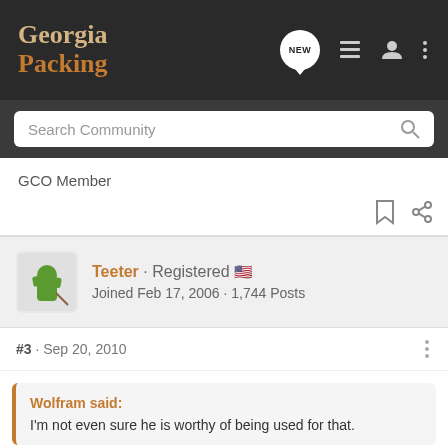Georgia Packing
Search Community
GCO Member
Teeter · Registered · Joined Feb 17, 2006 · 1,744 Posts
#3 · Sep 20, 2010
Wolfram said:
I'm not even sure he is worthy of being used for that.
Then how about this? At least you really get screwed . . . . .